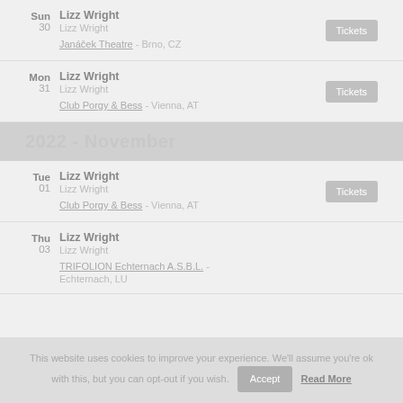Sun 30 Lizz Wright – Lizz Wright – Janáček Theatre - Brno, CZ
Mon 31 Lizz Wright – Lizz Wright – Club Porgy & Bess - Vienna, AT
2022 - November
Tue 01 Lizz Wright – Lizz Wright – Club Porgy & Bess - Vienna, AT
Thu 03 Lizz Wright – Lizz Wright – TRIFOLION Echternach A.S.B.L. - Echternach, LU
This website uses cookies to improve your experience. We'll assume you're ok with this, but you can opt-out if you wish. Accept Read More